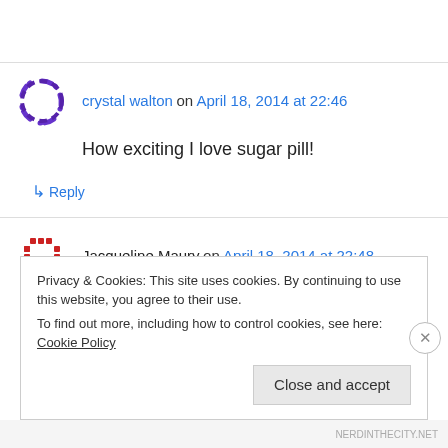crystal walton on April 18, 2014 at 22:46
How exciting I love sugar pill!
↳ Reply
Jacqueline Maury on April 18, 2014 at 22:48
I love the chesire cat tutorial !!
Privacy & Cookies: This site uses cookies. By continuing to use this website, you agree to their use. To find out more, including how to control cookies, see here: Cookie Policy
Close and accept